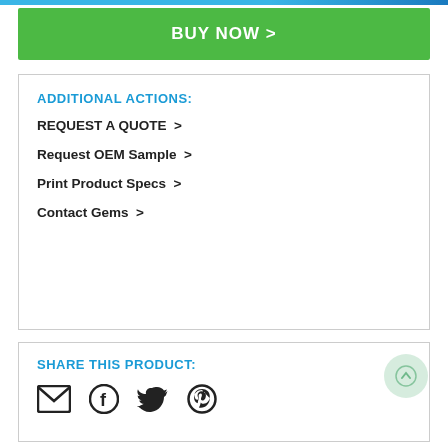BUY NOW >
ADDITIONAL ACTIONS:
REQUEST A QUOTE >
Request OEM Sample >
Print Product Specs >
Contact Gems >
SHARE THIS PRODUCT:
[Figure (infographic): Social share icons: email, Facebook, Twitter, Pinterest]
Is this standard product not fitting the bill for